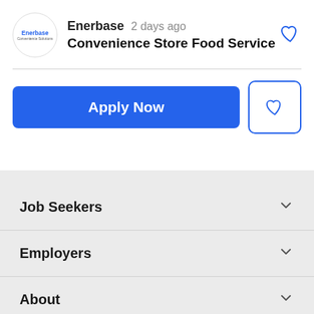[Figure (logo): Enerbase company logo in a circle]
Enerbase   2 days ago
Convenience Store Food Service
Apply Now
Job Seekers
Employers
About